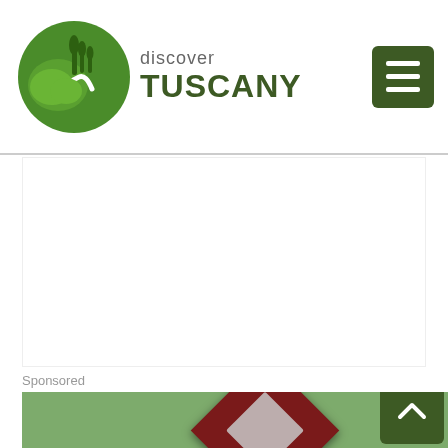[Figure (logo): Discover Tuscany logo with green circular icon on the left and text 'discover TUSCANY' on the right]
[Figure (screenshot): White blank content area below the header]
Sponsored
[Figure (photo): Sponsored content strip with green background and dark red diamond-shaped card element visible at the bottom]